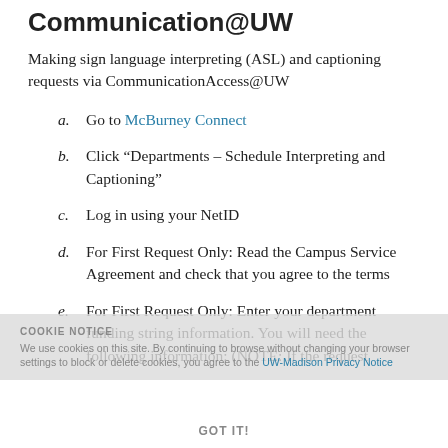Communication@UW
Making sign language interpreting (ASL) and captioning requests via CommunicationAccess@UW
a. Go to McBurney Connect
b. Click “Departments – Schedule Interpreting and Captioning”
c. Log in using your NetID
d. For First Request Only: Read the Campus Service Agreement and check that you agree to the terms
e. For First Request Only: Enter your department funding string information. You will need the following information: (NOTE: If the request